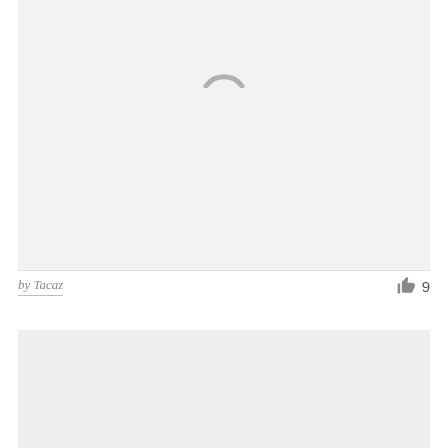[Figure (other): Loading placeholder image area with a spinner/loading arc icon centered in a light gray box]
by Tacaz
9
[Figure (other): Second loading placeholder image area, light gray box, partially visible]